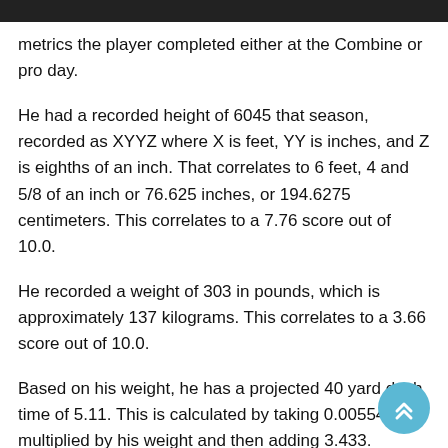metrics the player completed either at the Combine or pro day.
He had a recorded height of 6045 that season, recorded as XYYZ where X is feet, YY is inches, and Z is eighths of an inch. That correlates to 6 feet, 4 and 5/8 of an inch or 76.625 inches, or 194.6275 centimeters. This correlates to a 7.76 score out of 10.0.
He recorded a weight of 303 in pounds, which is approximately 137 kilograms. This correlates to a 3.66 score out of 10.0.
Based on his weight, he has a projected 40 yard dash time of 5.11. This is calculated by taking 0.00554 multiplied by his weight and then adding 3.433.